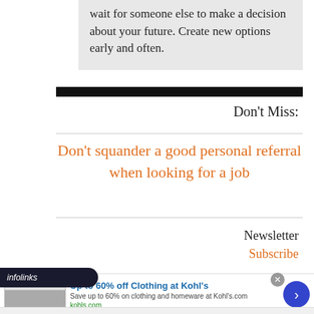wait for someone else to make a decision about your future. Create new options early and often.
Don't Miss:
Don't squander a good personal referral when looking for a job
Newsletter
Subscribe
[Figure (screenshot): infolinks advertisement banner. Ad shows: 'Up to 60% off Clothing at Kohl's' with description 'Save up to 60% on clothing and homeware at Kohl's.com' and URL 'kohls.com'. Image shows two people. Blue circle with right arrow on the right side.]